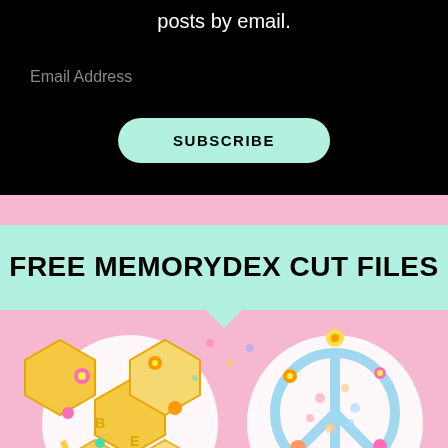posts by email.
Email Address
SUBSCRIBE
FREE MEMORYDEX CUT FILES
[Figure (photo): Two circular craft/scrapbooking pieces on a pink background. Left piece features a yellow honeycomb design with colorful flowers and bee decorations. Right piece features a light blue peace sign design filled with floral patterns.]